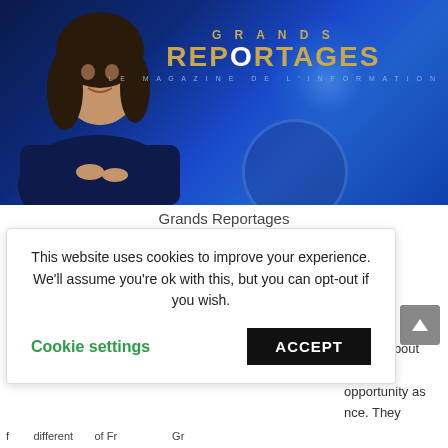[Figure (photo): Hero banner for 'Grands Reportages' TV show. Dark blue background with a woman in a navy blazer with arms crossed on the left, and stylized gold text reading 'GRANDS REPORTAGES LE MAGAZINE DE L'INFORMATION' on the right.]
Grands Reportages
...elogue about... fluent in... opportunity as... nce. They
This website uses cookies to improve your experience. We'll assume you're ok with this, but you can opt-out if you wish.
Cookie settings    ACCEPT
f...different...of Fr...............Gr...